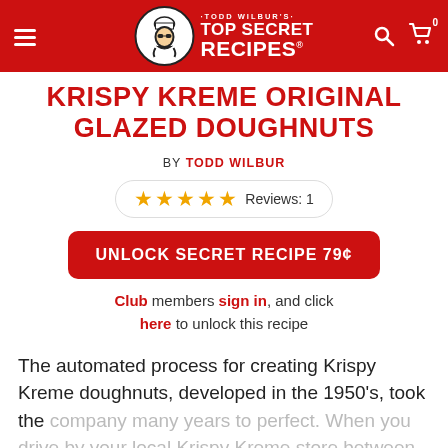Todd Wilbur's Top Secret Recipes — Navigation bar
KRISPY KREME ORIGINAL GLAZED DOUGHNUTS
BY TODD WILBUR
★★★★★ Reviews: 1
UNLOCK SECRET RECIPE 79¢
Club members sign in, and click here to unlock this recipe
The automated process for creating Krispy Kreme doughnuts, developed in the 1950's, took the company many years to perfect. When you drive by your local Krispy Kreme store between 5:00 and 11:00